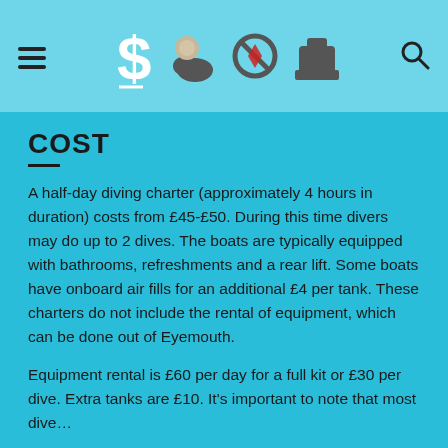[Figure (infographic): Top navigation bar with hamburger menu icon on the left, four icons in the center (dollar sign, weather/sun-cloud, prohibition/no sign with red element, equipment/tank icon), and a search magnifying glass icon on the right, all on a light blue background.]
COST
A half-day diving charter (approximately 4 hours in duration) costs from £45-£50. During this time divers may do up to 2 dives. The boats are typically equipped with bathrooms, refreshments and a rear lift. Some boats have onboard air fills for an additional £4 per tank. These charters do not include the rental of equipment, which can be done out of Eyemouth.
Equipment rental is £60 per day for a full kit or £30 per dive. Extra tanks are £10. It's important to note that most dive…